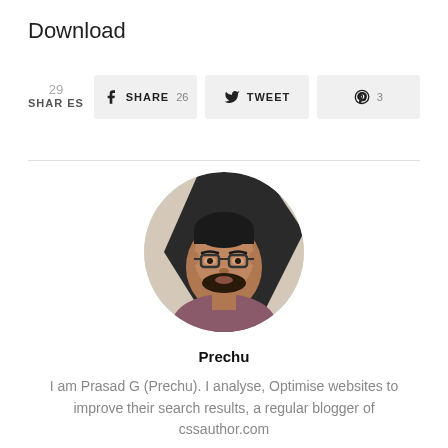Download
[Figure (infographic): Social sharing bar showing 29 total shares, Facebook Share button with 26, Twitter Tweet button, and Pinterest button with 3]
[Figure (photo): Circular profile photo of Prechu (Prasad G), a man with glasses and beard]
Prechu
I am Prasad G (Prechu). I analyse, Optimise websites to improve their search results, a regular blogger of cssauthor.com